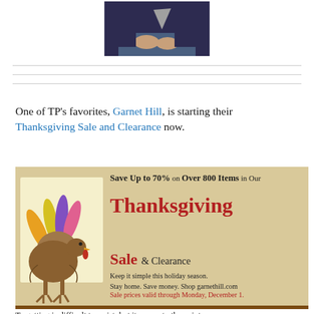[Figure (photo): Partial photo of a person sitting, wearing dark blue sweater and jeans, holding something triangular/gray, cropped at top]
One of TP's favorites, Garnet Hill, is starting their Thanksgiving Sale and Clearance now.
[Figure (illustration): Garnet Hill advertisement banner with tan/beige background. Text reads: Save Up to 70% on Over 800 Items in Our Thanksgiving Sale & Clearance. Keep it simple this holiday season. Stay home. Save money. Shop garnethill.com. Sale prices valid through Monday, December 1. Features a hand-drawn turkey illustration made from a hand tracing with colored fingers.]
To getting is difficult to resist, but it comes to the point